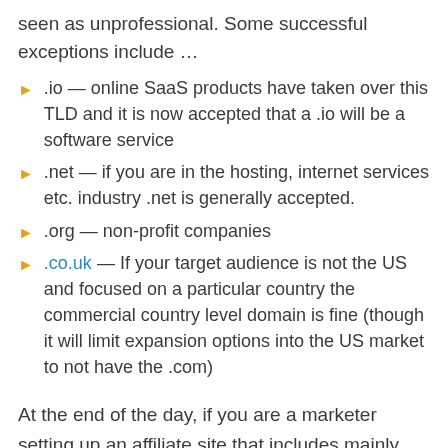seen as unprofessional. Some successful exceptions include …
.io — online SaaS products have taken over this TLD and it is now accepted that a .io will be a software service
.net — if you are in the hosting, internet services etc. industry .net is generally accepted.
.org — non-profit companies
.co.uk — If your target audience is not the US and focused on a particular country the commercial country level domain is fine (though it will limit expansion options into the US market to not have the .com)
At the end of the day, if you are a marketer setting up an affiliate site that includes mainly US visitors, you want to